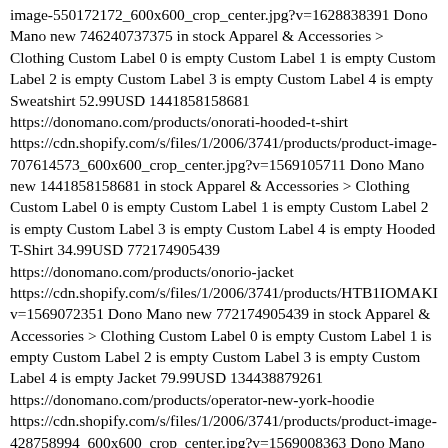image-550172172_600x600_crop_center.jpg?v=1628838391 Dono Mano new 746240737375 in stock Apparel & Accessories > Clothing Custom Label 0 is empty Custom Label 1 is empty Custom Label 2 is empty Custom Label 3 is empty Custom Label 4 is empty Sweatshirt 52.99USD 1441858158681 https://donomano.com/products/onorati-hooded-t-shirt https://cdn.shopify.com/s/files/1/2006/3741/products/product-image-707614573_600x600_crop_center.jpg?v=1569105711 Dono Mano new 1441858158681 in stock Apparel & Accessories > Clothing Custom Label 0 is empty Custom Label 1 is empty Custom Label 2 is empty Custom Label 3 is empty Custom Label 4 is empty Hooded T-Shirt 34.99USD 772174905439 https://donomano.com/products/onorio-jacket https://cdn.shopify.com/s/files/1/2006/3741/products/HTB1IOMAKI v=1569072351 Dono Mano new 772174905439 in stock Apparel & Accessories > Clothing Custom Label 0 is empty Custom Label 1 is empty Custom Label 2 is empty Custom Label 3 is empty Custom Label 4 is empty Jacket 79.99USD 134438879261 https://donomano.com/products/operator-new-york-hoodie https://cdn.shopify.com/s/files/1/2006/3741/products/product-image-428758994_600x600_crop_center.jpg?v=1569008363 Dono Mano new 134438879261 in stock Apparel & Accessories > Clothing Custom Label 0 is empty Custom Label 1 is empty Custom Label 2 is empty Custom Label 3 is empty Custom Label 4 is empty Hoodie 55.99USD 4491206099033